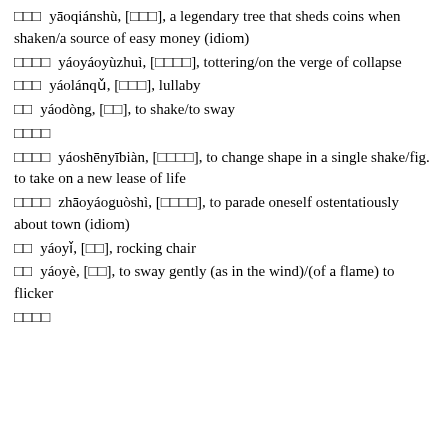□□□ yāoqiánshù, [□□□], a legendary tree that sheds coins when shaken/a source of easy money (idiom)
□□□□ yáoyáoyùzhuì, [□□□□], tottering/on the verge of collapse
□□□ yáolánqǔ, [□□□], lullaby
□□ yáodòng, [□□], to shake/to sway
□□□□
□□□□ yáoshēnyībiàn, [□□□□], to change shape in a single shake/fig. to take on a new lease of life
□□□□ zhāoyáoguòshì, [□□□□], to parade oneself ostentatiously about town (idiom)
□□ yáoyǐ, [□□], rocking chair
□□ yáoyè, [□□], to sway gently (as in the wind)/(of a flame) to flicker
□□□□